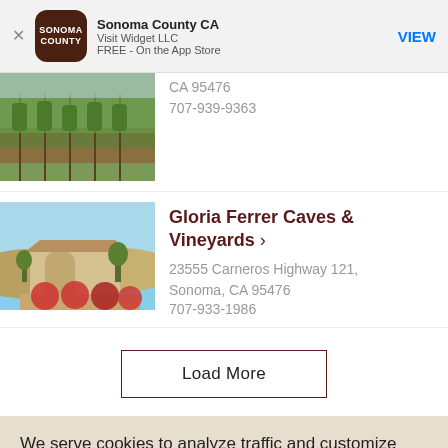[Figure (screenshot): App store banner for Sonoma County CA app by Visit Widget LLC, FREE on the App Store, with VIEW button]
CA 95476
707-939-9363
[Figure (photo): Aerial photo of a winery building with red umbrellas on a patio surrounded by vineyards]
Gloria Ferrer Caves & Vineyards ›
23555 Carneros Highway 121, Sonoma, CA 95476
707-933-1986
Load More
We serve cookies to analyze traffic and customize content on this site. See Privacy Policy